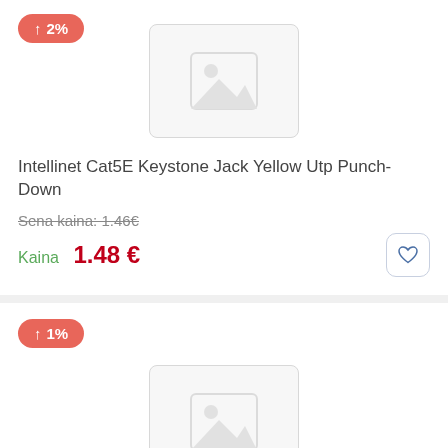[Figure (other): Badge showing price increase of 2%]
[Figure (photo): Product image placeholder for Intellinet Cat5E Keystone Jack Yellow Utp Punch-Down]
Intellinet Cat5E Keystone Jack Yellow Utp Punch-Down
Sena kaina: 1.46€
Kaina 1.48 €
[Figure (other): Badge showing price increase of 1%]
[Figure (photo): Product image placeholder for second product]